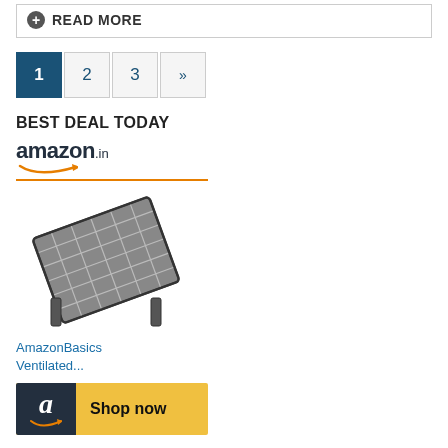READ MORE
[Figure (other): Pagination bar with page numbers 1 (active/highlighted in blue), 2, 3, and a double right arrow]
BEST DEAL TODAY
[Figure (other): Amazon.in advertisement widget showing the amazon.in logo with smile, a product image of AmazonBasics Ventilated laptop stand, and a Shop now button]
AmazonBasics Ventilated...
Shop now